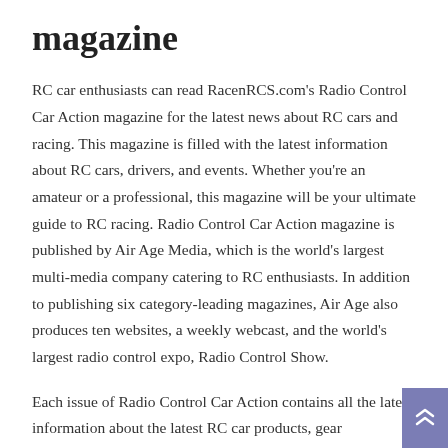magazine
RC car enthusiasts can read RacenRCS.com's Radio Control Car Action magazine for the latest news about RC cars and racing. This magazine is filled with the latest information about RC cars, drivers, and events. Whether you're an amateur or a professional, this magazine will be your ultimate guide to RC racing. Radio Control Car Action magazine is published by Air Age Media, which is the world's largest multi-media company catering to RC enthusiasts. In addition to publishing six category-leading magazines, Air Age also produces ten websites, a weekly webcast, and the world's largest radio control expo, Radio Control Show.
Each issue of Radio Control Car Action contains all the latest information about the latest RC car products, gear